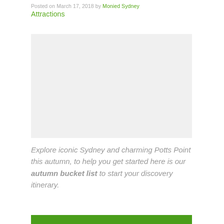Posted on March 17, 2018 by Monied Sydney
Attractions
[Figure (photo): Image placeholder area for Sydney / Potts Point autumn scene]
Explore iconic Sydney and charming Potts Point this autumn, to help you get started here is our autumn bucket list to start your discovery itinerary.
BOOK NOW